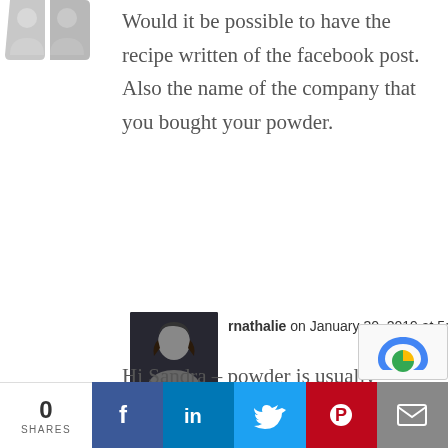[Figure (illustration): Grey avatar/silhouette icon at top left, partially cropped]
Would it be possible to have the recipe written of the facebook post. Also the name of the company that you bought your powder.
[Figure (photo): Profile photo of Nathalie, a woman with dark hair]
rnathalie on January 30, 2019 at 5:56 am
Hi Sandra – powder is usually available at any good natural
[Figure (infographic): Social share bar at bottom: 0 SHARES, Facebook, LinkedIn, Twitter, Pinterest, Email buttons]